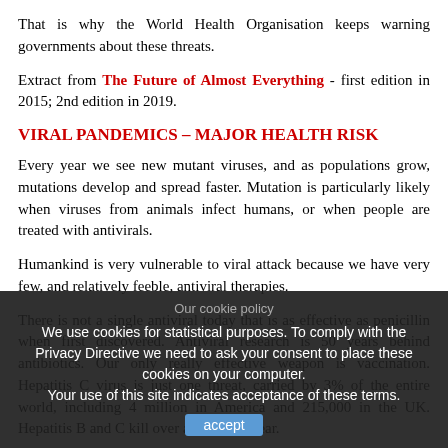That is why the World Health Organisation keeps warning governments about these threats.
Extract from The Future of Almost Everything - first edition in 2015; 2nd edition in 2019.
VIRAL PANDEMICS – MAJOR HEALTH RISK
Every year we see new mutant viruses, and as populations grow, mutations develop and spread faster. Mutation is particularly likely when viruses from animals infect humans, or when people are treated with antivirals.
Humankind is very vulnerable to viral attack because we have very few, and relatively feeble, antiviral therapies.
There is not a single antiviral today that is as effective as penicillin when first discovered. Antiviral research is 50 years behind antibiotics. Our only really effective weapon is vaccination. Hepatitis C virus is just one threat, carried by 3% of the entire world, including 4 million in America and 215,000 in the UK. Hepatitis B and C kill over a million a year.
AIDS will be a global threat for this century
AIDS has killed over 40 million people with a further 35 million infected, mainly in developing world nations. AIDS is caused by the HIV virus. HIV mutated as it jumped from animals to humans decades ago, and is a warning of other mutants to come, against which we will have no immunity.
Our cookie policy
We use cookies for statistical purposes. To comply with the Privacy Directive we need to ask your consent to place these cookies on your computer.
Your use of this site indicates acceptance of these terms.
accept